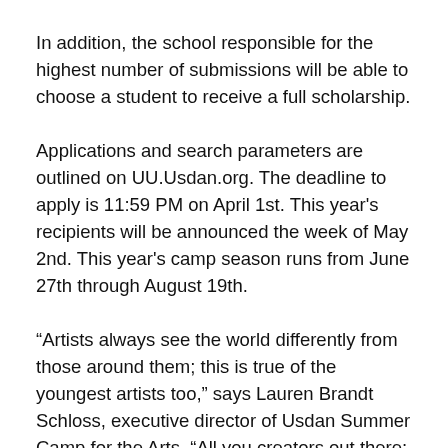In addition, the school responsible for the highest number of submissions will be able to choose a student to receive a full scholarship.
Applications and search parameters are outlined on UU.Usdan.org. The deadline to apply is 11:59 PM on April 1st. This year's recipients will be announced the week of May 2nd. This year's camp season runs from June 27th through August 19th.
“Artists always see the world differently from those around them; this is true of the youngest artists too,” says Lauren Brandt Schloss, executive director of Usdan Summer Camp for the Arts. “All you creators out there: If you have a particular passion, think creatively, or see yourself differently from others around you, Usdan is the place for you. Apply for this scholarship because your work matters to the